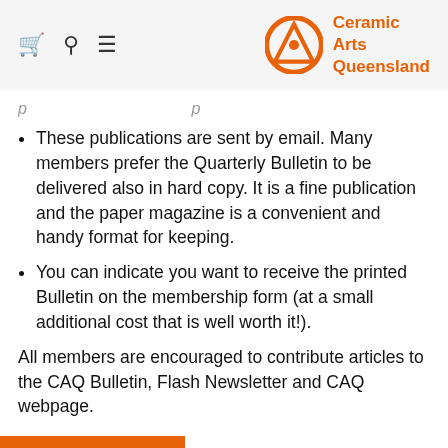Ceramic Arts Queensland
These publications are sent by email. Many members prefer the Quarterly Bulletin to be delivered also in hard copy. It is a fine publication and the paper magazine is a convenient and handy format for keeping.
You can indicate you want to receive the printed Bulletin on the membership form (at a small additional cost that is well worth it!).
All members are encouraged to contribute articles to the CAQ Bulletin, Flash Newsletter and CAQ webpage.